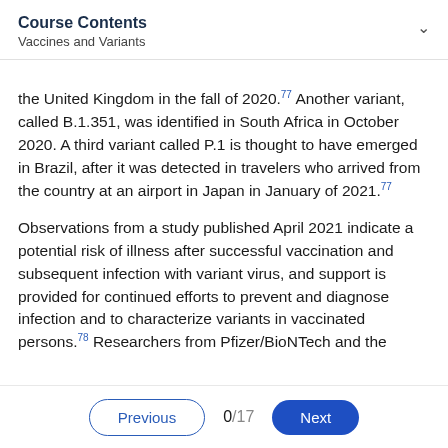Course Contents
Vaccines and Variants
the United Kingdom in the fall of 2020.77 Another variant, called B.1.351, was identified in South Africa in October 2020. A third variant called P.1 is thought to have emerged in Brazil, after it was detected in travelers who arrived from the country at an airport in Japan in January of 2021.77
Observations from a study published April 2021 indicate a potential risk of illness after successful vaccination and subsequent infection with variant virus, and support is provided for continued efforts to prevent and diagnose infection and to characterize variants in vaccinated persons.78 Researchers from Pfizer/BioNTech and the
Previous  0/17  Next